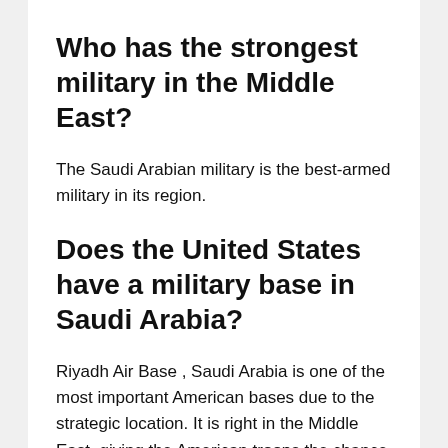Who has the strongest military in the Middle East?
The Saudi Arabian military is the best-armed military in its region.
Does the United States have a military base in Saudi Arabia?
Riyadh Air Base , Saudi Arabia is one of the most important American bases due to the strategic location. It is right in the Middle East, giving the American troops the chance to easily support their jurisdictions since military ... The base is